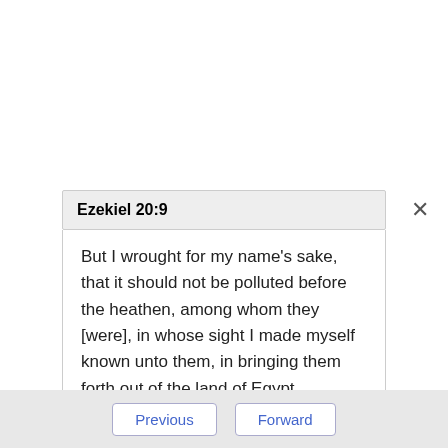Ezekiel 20:9
But I wrought for my name's sake, that it should not be polluted before the heathen, among whom they [were], in whose sight I made myself known unto them, in bringing them forth out of the land of Egypt.
Ezekiel 20:10
Wherefore I caused them to go forth out of the land of Egypt, and brought them into the
Previous   Forward